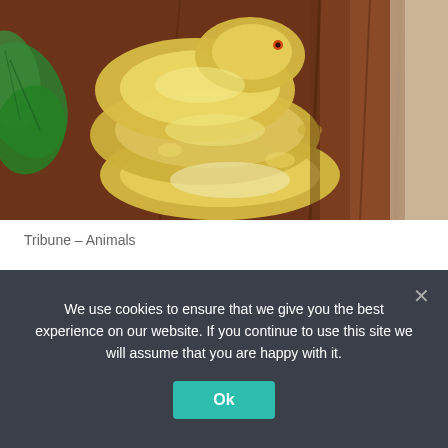[Figure (photo): A yellow/albino ball python snake coiled on brown tree bark, with green leaves visible in the upper left corner.]
Tribune – Animals
Snakes, birds, turtles: Europe must stop animal imports
We use cookies to ensure that we give you the best experience on our website. If you continue to use this site we will assume that you are happy with it.